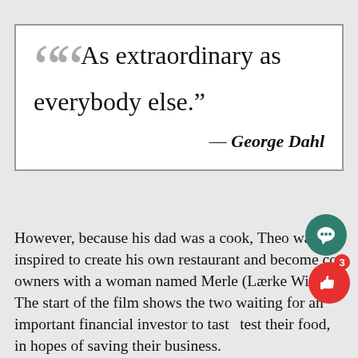“As extraordinary as everybody else.” — George Dahl
However, because his dad was a cook, Theo was inspired to create his own restaurant and become co-owners with a woman named Merle (Lærke Winter). The start of the film shows the two waiting for an important financial investor to taste test their food, in hopes of saving their business.
Everything runs smoothly up until Theo receives a